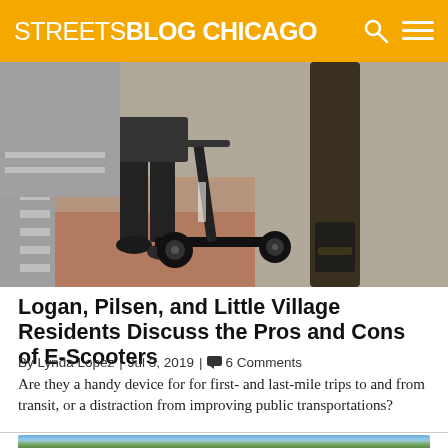STREETSBLOG CHICAGO
[Figure (photo): Person with an electric scooter at a street corner crosswalk, standing next to a utility pole]
Logan, Pilsen, and Little Village Residents Discuss the Pros and Cons of E-Scooters
By Lynda Lopez | Jul 3, 2019 | 6 Comments
Are they a handy device for for first- and last-mile trips to and from transit, or a distraction from improving public transportations?
[Figure (photo): Partial view of outdoor scene with trees and sky, bottom of page]